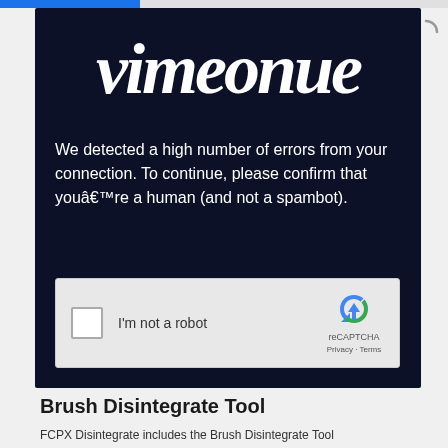[Figure (screenshot): Vimeo website screenshot showing a dark navy panel with the Vimeo logo in large white italic text, an error message about high number of errors from connection asking to confirm not a spambot, and a reCAPTCHA 'I'm not a robot' checkbox widget]
Brush Disintegrate Tool
FCPX Disintegrate includes the Brush Disintegrate Tool